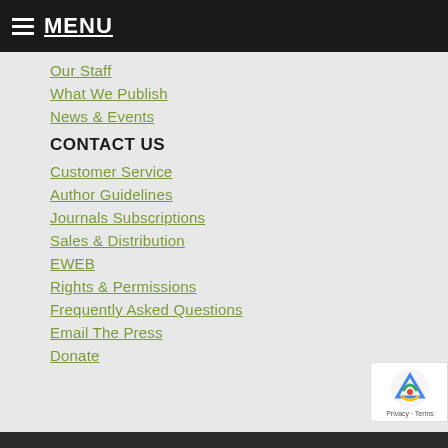MENU
Our Staff
What We Publish
News & Events
CONTACT US
Customer Service
Author Guidelines
Journals Subscriptions
Sales & Distribution
EWEB
Rights & Permissions
Frequently Asked Questions
Email The Press
Donate